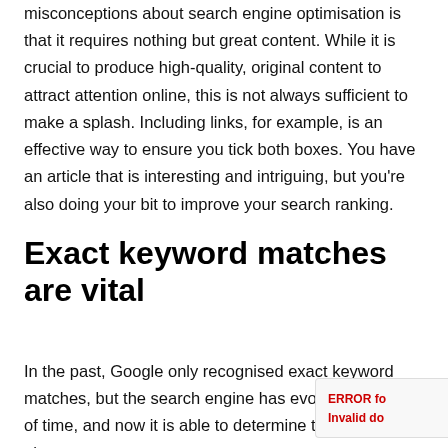misconceptions about search engine optimisation is that it requires nothing but great content. While it is crucial to produce high-quality, original content to attract attention online, this is not always sufficient to make a splash. Including links, for example, is an effective way to ensure you tick both boxes. You have an article that is interesting and intriguing, but you're also doing your bit to improve your search ranking.
Exact keyword matches are vital
In the past, Google only recognised exact keyword matches, but the search engine has evolved in a short of time, and now it is able to determine that similar phrases